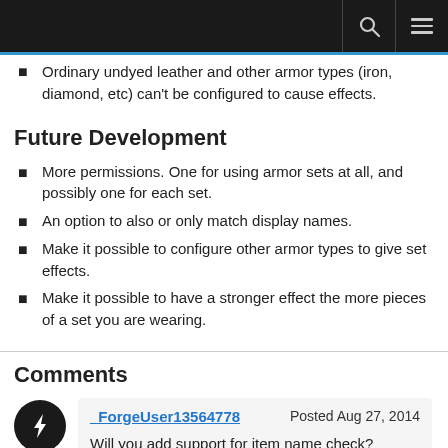Ordinary undyed leather and other armor types (iron, diamond, etc) can't be configured to cause effects.
Future Development
More permissions. One for using armor sets at all, and possibly one for each set.
An option to also or only match display names.
Make it possible to configure other armor types to give set effects.
Make it possible to have a stronger effect the more pieces of a set you are wearing.
Comments
_ForgeUser13564778  Posted Aug 27, 2014
Will you add support for item name check?